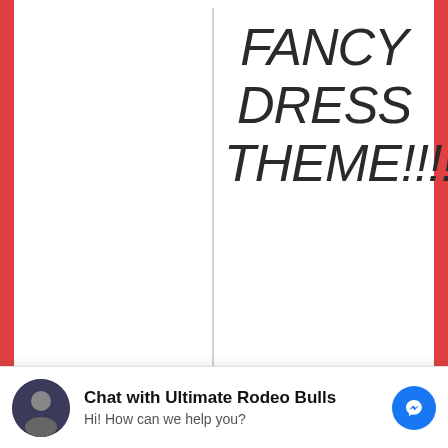FANCY DRESS THEME!!!!!!
Rodeo Bull Cowboy/Cowgirl Parties are as popular as ever starting with kids and going
Chat with Ultimate Rodeo Bulls
Hi! How can we help you?